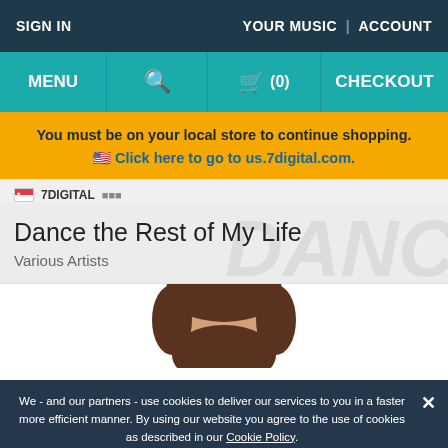SIGN IN | YOUR MUSIC | ACCOUNT
MENU | [search] | [cart] (0) | CHECKOUT
You must be on your local store to continue shopping.
🇺🇸 Click here to go to us.7digital.com.
🇸🇬 7DIGITAL 新加坡
Dance the Rest of My Life
Various Artists
[Figure (photo): Top of a person's head with dark brown hair against a white background]
We - and our partners - use cookies to deliver our services to you in a faster more efficient manner. By using our website you agree to the use of cookies as described in our Cookie Policy.